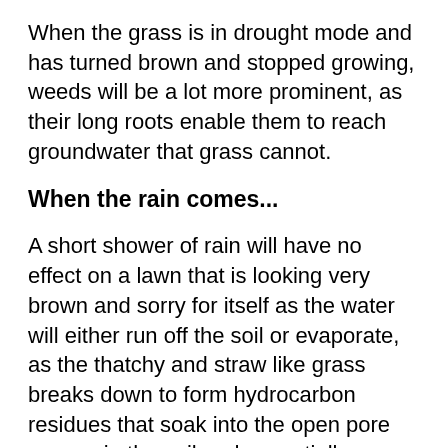When the grass is in drought mode and has turned brown and stopped growing, weeds will be a lot more prominent, as their long roots enable them to reach groundwater that grass cannot.
When the rain comes...
A short shower of rain will have no effect on a lawn that is looking very brown and sorry for itself as the water will either run off the soil or evaporate, as the thatchy and straw like grass breaks down to form hydrocarbon residues that soak into the open pore spaces in the soil and essentially waterproof it.
As soon as the heavier rain finally arrives, it may also unfortunately run off if the wetting agent Abzorb hasn't been applied. Abzorb is a wetting agent that works by breaking down the lipids that have waterproofed the soil, enabling the rain to penetrate the soil and reach the roots of the